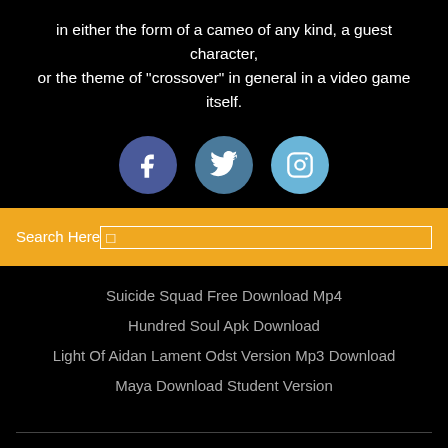in either the form of a cameo of any kind, a guest character, or the theme of "crossover" in general in a video game itself.
[Figure (infographic): Three social media icon circles: Facebook (dark blue), Twitter (medium blue), Instagram (light blue)]
Search Here
Suicide Squad Free Download Mp4
Hundred Soul Apk Download
Light Of Aidan Lament Odst Version Mp3 Download
Maya Download Student Version
Copyright ©2022 All rights reserved | This template is made with ♡ by Colorlib